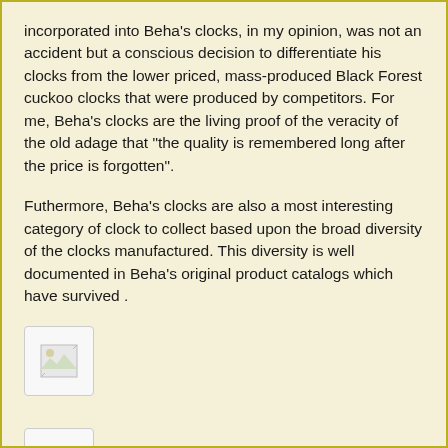incorporated into Beha's clocks, in my opinion, was not an accident but a conscious decision to differentiate his clocks from the lower priced, mass-produced Black Forest cuckoo clocks that were produced by competitors. For me, Beha's clocks are the living proof of the veracity of the old adage that "the quality is remembered long after the price is forgotten".
Futhermore, Beha's clocks are also a most interesting category of clock to collect based upon the broad diversity of the clocks manufactured. This diversity is well documented in Beha's original product catalogs which have survived .
[Figure (photo): Broken/missing image placeholder 1]
[Figure (photo): Broken/missing image placeholder 2]
[Figure (photo): Broken/missing image placeholder 3]